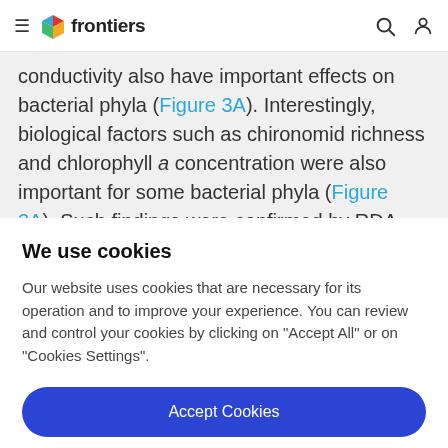frontiers
conductivity also have important effects on bacterial phyla (Figure 3A). Interestingly, biological factors such as chironomid richness and chlorophyll a concentration were also important for some bacterial phyla (Figure 3A). Such findings were confirmed by RDA, which shows that
We use cookies
Our website uses cookies that are necessary for its operation and to improve your experience. You can review and control your cookies by clicking on "Accept All" or on "Cookies Settings".
Accept Cookies
Cookies Settings